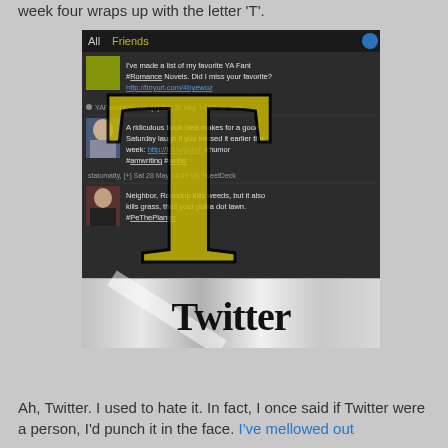week four wraps up with the letter  'T'.
[Figure (screenshot): A screenshot of a Twitter feed with tweets partially obscured by a large gold-colored letter T overlay. Below the feed is the Twitter logo on a metallic silver/chrome background bar.]
Ah, Twitter. I used to hate it. In fact, I once said if Twitter were a person, I'd punch it in the face. I've mellowed out since then.